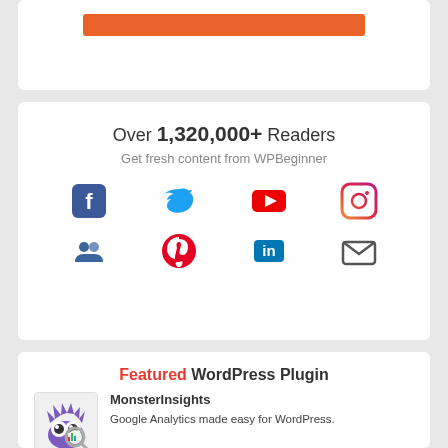[Figure (other): Orange button at top of card (partial view)]
Over 1,320,000+ Readers
Get fresh content from WPBeginner
[Figure (infographic): Social media icons grid: Facebook, Twitter, YouTube, Instagram (row 1); Groups/community, Pinterest, LinkedIn, Email (row 2)]
Featured WordPress Plugin
MonsterInsights
Google Analytics made easy for WordPress.